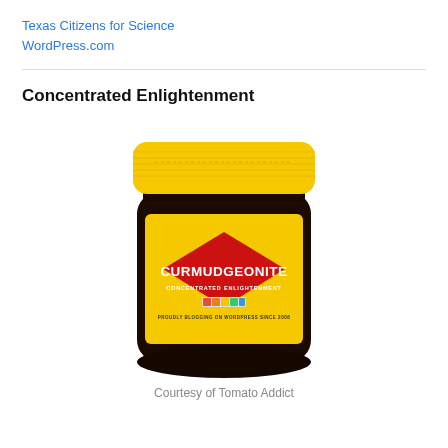Texas Citizens for Science
WordPress.com
Concentrated Enlightenment
[Figure (illustration): A jar of 'Curmudgeonite - Concentrated Enlightenment' product with yellow lid and yellow label featuring a red diamond shape with the product name, mimicking a Vegemite-style jar design. Text on label reads 'CURMUDGEONITE', 'CONCENTRATED ENLIGHTENMENT', and 'PROUDLY BLOGGING ON WORDPRESS SINCE 2008'.]
Courtesy of Tomato Addict